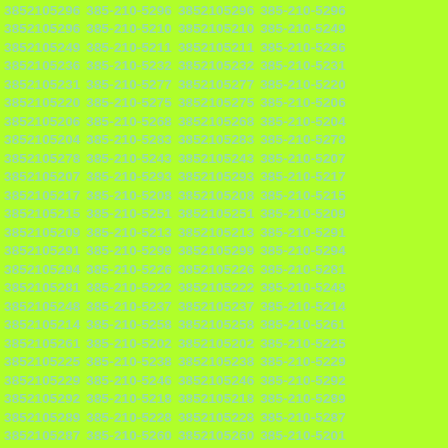3852105296 385-210-5296 3852105296 385-210-5296 3852105296 385-210-5210 3852105210 385-210-5249 3852105249 385-210-5211 3852105211 385-210-5236 3852105236 385-210-5232 3852105232 385-210-5231 3852105231 385-210-5277 3852105277 385-210-5220 3852105220 385-210-5275 3852105275 385-210-5206 3852105206 385-210-5268 3852105268 385-210-5204 3852105204 385-210-5283 3852105283 385-210-5278 3852105278 385-210-5243 3852105243 385-210-5207 3852105207 385-210-5293 3852105293 385-210-5217 3852105217 385-210-5208 3852105208 385-210-5215 3852105215 385-210-5251 3852105251 385-210-5209 3852105209 385-210-5213 3852105213 385-210-5291 3852105291 385-210-5299 3852105299 385-210-5294 3852105294 385-210-5226 3852105226 385-210-5281 3852105281 385-210-5222 3852105222 385-210-5248 3852105248 385-210-5237 3852105237 385-210-5214 3852105214 385-210-5258 3852105258 385-210-5261 3852105261 385-210-5202 3852105202 385-210-5225 3852105225 385-210-5238 3852105238 385-210-5229 3852105229 385-210-5246 3852105246 385-210-5292 3852105292 385-210-5218 3852105218 385-210-5289 3852105289 385-210-5228 3852105228 385-210-5287 3852105287 385-210-5260 3852105260 385-210-5201 3852105201 385-210-5235 3852105235 385-210-5263